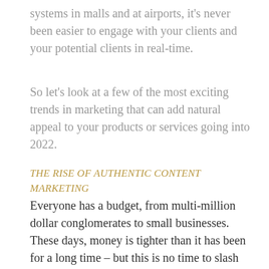systems in malls and at airports, it's never been easier to engage with your clients and your potential clients in real-time.
So let's look at a few of the most exciting trends in marketing that can add natural appeal to your products or services going into 2022.
THE RISE OF AUTHENTIC CONTENT MARKETING
Everyone has a budget, from multi-million dollar conglomerates to small businesses. These days, money is tighter than it has been for a long time – but this is no time to slash your marketing or advertising budgets – quite